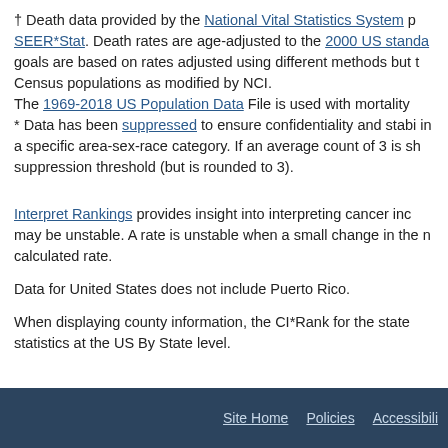† Death data provided by the National Vital Statistics System p SEER*Stat. Death rates are age-adjusted to the 2000 US standa goals are based on rates adjusted using different methods but t Census populations as modified by NCI. The 1969-2018 US Population Data File is used with mortality * Data has been suppressed to ensure confidentiality and stabil in a specific area-sex-race category. If an average count of 3 is sh suppression threshold (but is rounded to 3).
Interpret Rankings provides insight into interpreting cancer inc may be unstable. A rate is unstable when a small change in the n calculated rate.
Data for United States does not include Puerto Rico.
When displaying county information, the CI*Rank for the state statistics at the US By State level.
Site Home   Policies   Accessibili